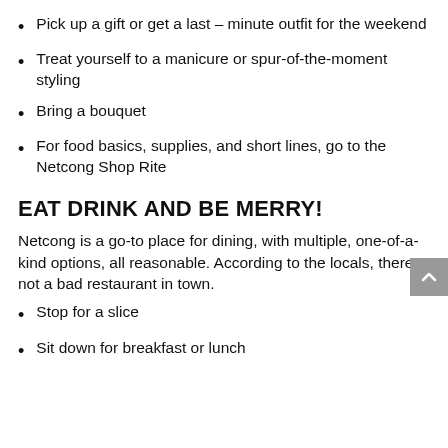Pick up a gift or get a last – minute outfit for the weekend
Treat yourself to a manicure or spur-of-the-moment styling
Bring a bouquet
For food basics, supplies, and short lines, go to the Netcong Shop Rite
EAT DRINK AND BE MERRY!
Netcong is a go-to place for dining, with multiple, one-of-a-kind options, all reasonable. According to the locals, there’s not a bad restaurant in town.
Stop for a slice
Sit down for breakfast or lunch